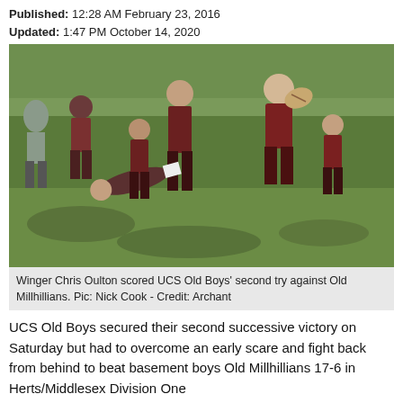Published: 12:28 AM February 23, 2016
Updated: 1:47 PM October 14, 2020
[Figure (photo): Rugby players in dark red/maroon jerseys running on a muddy grass field. A winger carrying a ball is breaking away from a tackle while teammates support.]
Winger Chris Oulton scored UCS Old Boys' second try against Old Millhillians. Pic: Nick Cook - Credit: Archant
UCS Old Boys secured their second successive victory on Saturday but had to overcome an early scare and fight back from behind to beat basement boys Old Millhillians 17-6 in Herts/Middlesex Division One